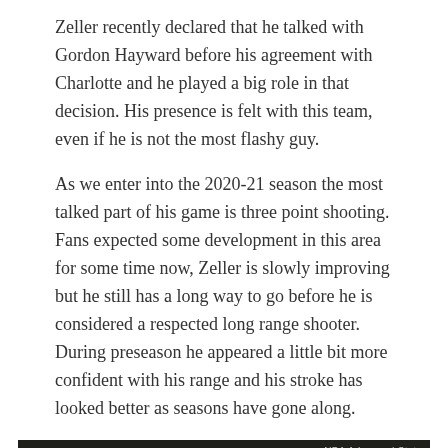Zeller recently declared that he talked with Gordon Hayward before his agreement with Charlotte and he played a big role in that decision. His presence is felt with this team, even if he is not the most flashy guy.
As we enter into the 2020-21 season the most talked part of his game is three point shooting. Fans expected some development in this area for some time now, Zeller is slowly improving but he still has a long way to go before he is considered a respected long range shooter. During preseason he appeared a little bit more confident with his range and his stroke has looked better as seasons have gone along.
[Figure (screenshot): Video player showing a basketball game with an error message overlay reading: 'The media could not be loaded, either because the server or network failed or because the format is not supported.' NBA Advanced Stats watermark in top right corner. A white X icon visible at the bottom center.]